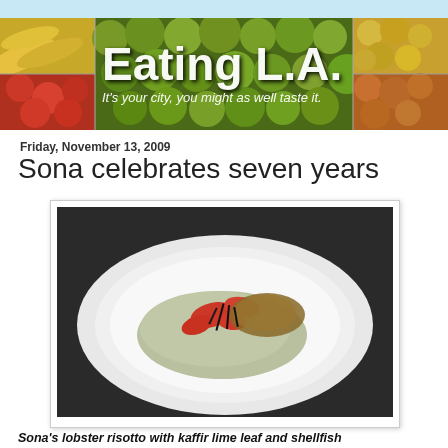[Figure (illustration): Eating L.A. blog header banner with fruit market photos and blog title text 'Eating L.A.' and tagline 'It's your city, you might as well taste it.']
Friday, November 13, 2009
Sona celebrates seven years
[Figure (photo): Sona's lobster risotto dish on a white plate with kaffir lime leaf and shellfish broth, photographed in a restaurant setting]
Sona's lobster risotto with kaffir lime leaf and shellfish